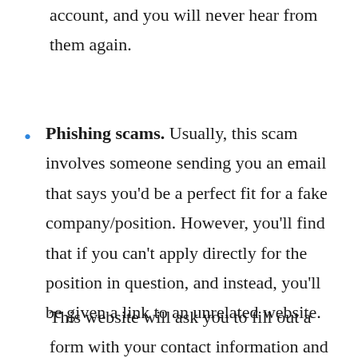account, and you will never hear from them again.
Phishing scams. Usually, this scam involves someone sending you an email that says you'd be a perfect fit for a fake company/position. However, you'll find that if you can't apply directly for the position in question, and instead, you'll be given a link to an unrelated website.
This website will ask you to fill out a form with your contact information and other